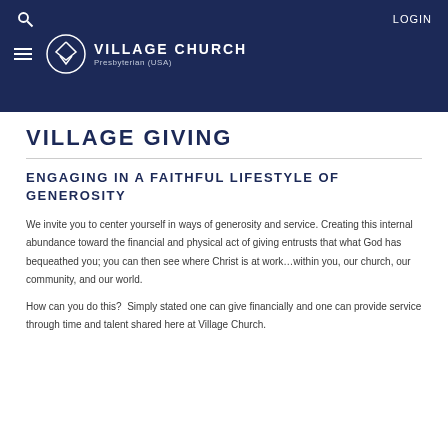LOGIN | VILLAGE CHURCH Presbyterian (USA)
VILLAGE GIVING
ENGAGING IN A FAITHFUL LIFESTYLE OF GENEROSITY
We invite you to center yourself in ways of generosity and service. Creating this internal abundance toward the financial and physical act of giving entrusts that what God has bequeathed you; you can then see where Christ is at work...within you, our church, our community, and our world.
How can you do this?  Simply stated one can give financially and one can provide service through time and talent shared here at Village Church.